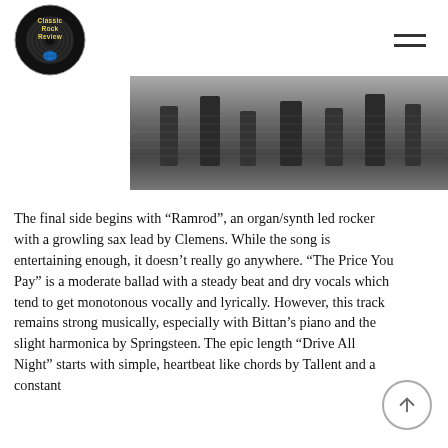Classic Rock Review
[Figure (photo): Black and white photo strip showing people, partial view of a band or group scene]
The final side begins with “Ramrod”, an organ/synth led rocker with a growling sax lead by Clemens. While the song is entertaining enough, it doesn’t really go anywhere. “The Price You Pay” is a moderate ballad with a steady beat and dry vocals which tend to get monotonous vocally and lyrically. However, this track remains strong musically, especially with Bittan’s piano and the slight harmonica by Springsteen. The epic length “Drive All Night” starts with simple, heartbeat like chords by Tallent and a constant